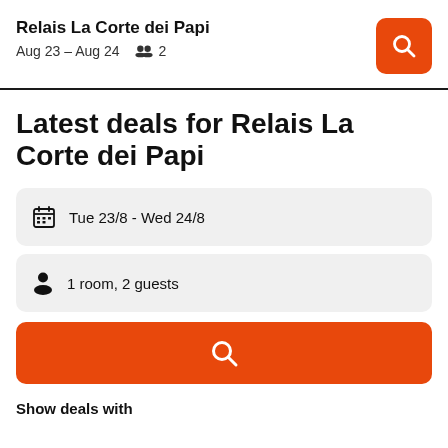Relais La Corte dei Papi — Aug 23 – Aug 24 — 2 guests
Latest deals for Relais La Corte dei Papi
Tue 23/8  -  Wed 24/8
1 room, 2 guests
Show deals with